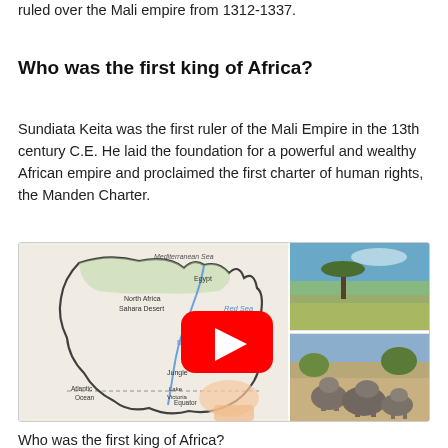ruled over the Mali empire from 1312-1337.
Who was the first king of Africa?
Sundiata Keita was the first ruler of the Mali Empire in the 13th century C.E. He laid the foundation for a powerful and wealthy African empire and proclaimed the first charter of human rights, the Manden Charter.
[Figure (screenshot): A YouTube video thumbnail showing a hand-drawn map of Africa with labels including Mediterranean Sea, North Africa, Sahara Desert, Egypt, Red Sea, Nile, Jungle, Atlantic Ocean, Equator, Lake Victoria, alongside two photographs: one of an African savanna landscape with a tree, and one of elephants in a savanna. A red YouTube play button is overlaid in the center.]
Who was the first king of Africa?